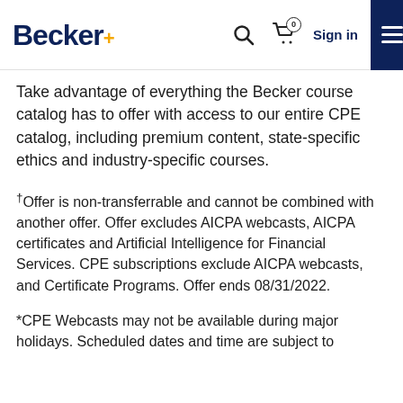Becker+ [navigation with search, cart, sign in]
Take advantage of everything the Becker course catalog has to offer with access to our entire CPE catalog, including premium content, state-specific ethics and industry-specific courses.
†Offer is non-transferrable and cannot be combined with another offer. Offer excludes AICPA webcasts, AICPA certificates and Artificial Intelligence for Financial Services. CPE subscriptions exclude AICPA webcasts, and Certificate Programs. Offer ends 08/31/2022.
*CPE Webcasts may not be available during major holidays. Scheduled dates and time are subject to